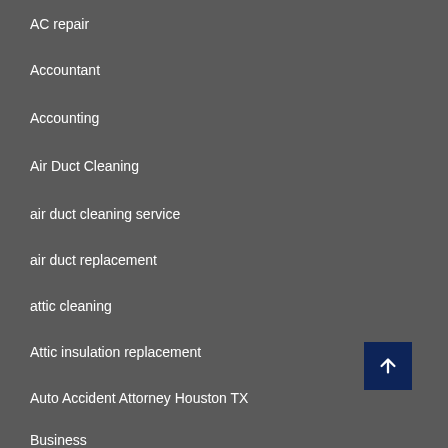AC repair
Accountant
Accounting
Air Duct Cleaning
air duct cleaning service
air duct replacement
attic cleaning
Attic insulation replacement
Auto Accident Attorney Houston TX
Business